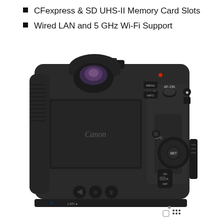CFexpress & SD UHS-II Memory Card Slots
Wired LAN and 5 GHz Wi-Fi Support
[Figure (photo): Rear view of a Canon EOS R3 mirrorless camera body showing the viewfinder, LCD screen, and various controls including AF-ON button, SET dial, MFO button, and LAN port label at the bottom.]